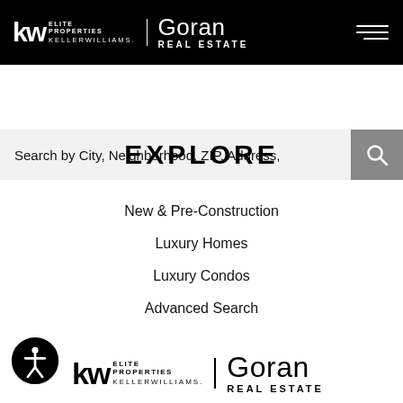kw ELITE PROPERTIES KELLERWILLIAMS. | Goran REAL ESTATE
Search by City, Neighborhood, ZIP, Address,
EXPLORE
New & Pre-Construction
Luxury Homes
Luxury Condos
Advanced Search
[Figure (logo): Accessibility icon - person in circle]
[Figure (logo): kw ELITE PROPERTIES KELLERWILLIAMS. | Goran REAL ESTATE footer logo]